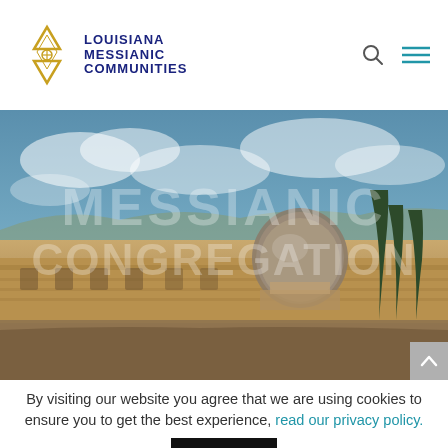[Figure (logo): Louisiana Messianic Communities logo with Star of David and text]
[Figure (photo): Aerial/skyline view of Jerusalem showing the Dome of the Rock area with trees, ancient stone buildings, and a partly cloudy blue sky. Overlaid watermark text reads MESSIANIC CONGREGATION.]
By visiting our website you agree that we are using cookies to ensure you to get the best experience, read our privacy policy.
Accept